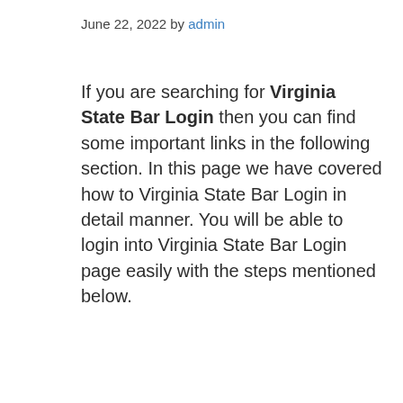June 22, 2022 by admin
If you are searching for Virginia State Bar Login then you can find some important links in the following section. In this page we have covered how to Virginia State Bar Login in detail manner. You will be able to login into Virginia State Bar Login page easily with the steps mentioned below.